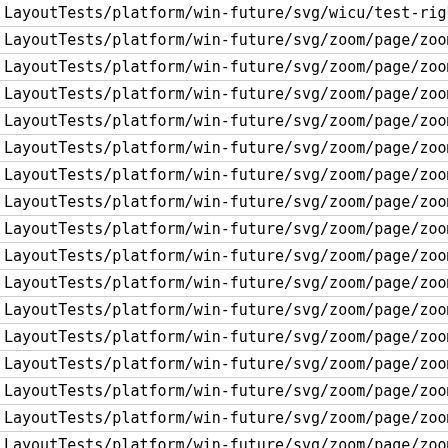LayoutTests/platform/win-future/svg/wicu/test-rightSizing-b
LayoutTests/platform/win-future/svg/zoom/page/zoom-backgrou
LayoutTests/platform/win-future/svg/zoom/page/zoom-hixie-mix
LayoutTests/platform/win-future/svg/zoom/page/zoom-hixie-mix
LayoutTests/platform/win-future/svg/zoom/page/zoom-hixie-mix
LayoutTests/platform/win-future/svg/zoom/page/zoom-mask-with
LayoutTests/platform/win-future/svg/zoom/page/zoom-replaced-
LayoutTests/platform/win-future/svg/zoom/page/zoom-svg-as-ba
LayoutTests/platform/win-future/svg/zoom/page/zoom-svg-as-ba
LayoutTests/platform/win-future/svg/zoom/page/zoom-svg-as-ir
LayoutTests/platform/win-future/svg/zoom/page/zoom-svg-as-ob
LayoutTests/platform/win-future/svg/zoom/page/zoom-svg-as-re
LayoutTests/platform/win-future/svg/zoom/page/zoom-svg-float
LayoutTests/platform/win-future/svg/zoom/page/zoom-svg-throu
LayoutTests/platform/win-future/svg/zoom/page/zoom-svg-throu
LayoutTests/platform/win-future/svg/zoom/page/zoom-svg-throu
LayoutTests/platform/win-future/svg/zoom/page/zoom-svg-throu
LayoutTests/platform/win-future/svg/zoom/page/zoom-svg-throu